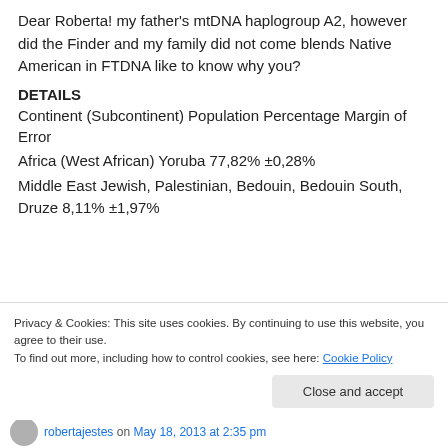Dear Roberta! my father's mtDNA haplogroup A2, however did the Finder and my family did not come blends Native American in FTDNA like to know why you?
DETAILS
Continent (Subcontinent) Population Percentage Margin of Error
Africa (West African) Yoruba 77,82% ±0,28%
Middle East Jewish, Palestinian, Bedouin, Bedouin South, Druze 8,11% ±1,97%
Privacy & Cookies: This site uses cookies. By continuing to use this website, you agree to their use.
To find out more, including how to control cookies, see here: Cookie Policy
Close and accept
robertajestes on May 18, 2013 at 2:35 pm